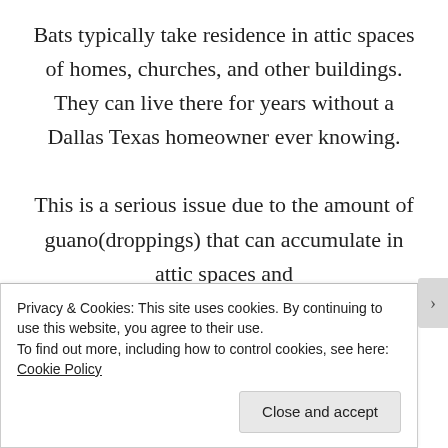Bats typically take residence in attic spaces of homes, churches, and other buildings. They can live there for years without a Dallas Texas homeowner ever knowing.

This is a serious issue due to the amount of guano(droppings) that can accumulate in attic spaces and
Privacy & Cookies: This site uses cookies. By continuing to use this website, you agree to their use.
To find out more, including how to control cookies, see here: Cookie Policy
Close and accept